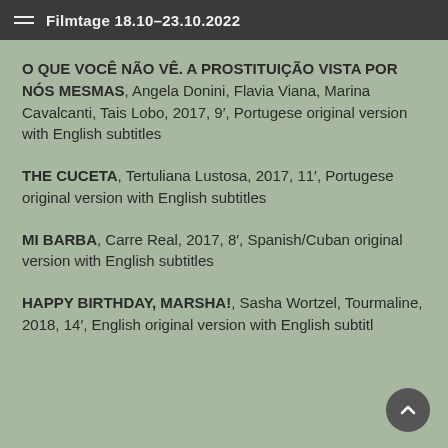Filmtage 18.10–23.10.2022
O QUE VOCÊ NÃO VÊ. A PROSTITUIÇÃO VISTA POR NÓS MESMAS, Angela Donini, Flavia Viana, Marina Cavalcanti, Tais Lobo, 2017, 9′, Portugese original version with English subtitles
THE CUCETA, Tertuliana Lustosa, 2017, 11′, Portugese original version with English subtitles
MI BARBA, Carre Real, 2017, 8′, Spanish/Cuban original version with English subtitles
HAPPY BIRTHDAY, MARSHA!, Sasha Wortzel, Tourmaline, 2018, 14′, English original version with English subtitl